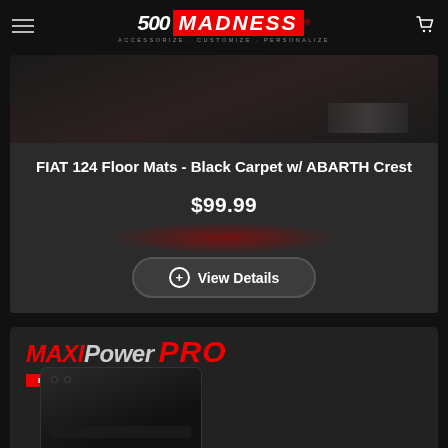500 MADNESS - Accessorize Customize Personalize
[Figure (photo): Dark product image of FIAT 124 floor mats with black carpet and ABARTH crest, partially visible at top]
FIAT 124 Floor Mats - Black Carpet w/ ABARTH Crest
$99.99
+ View Details
[Figure (photo): MAXPower PRO Engine Control Module product image showing a black electronic module device with red and grey branding banner at top]